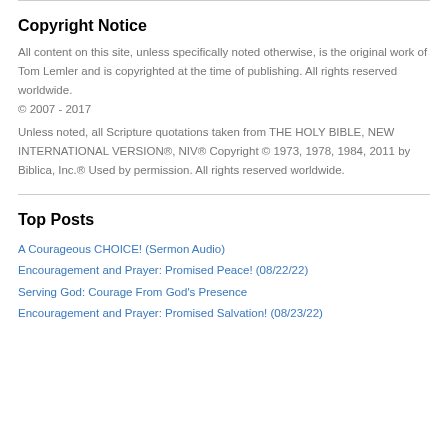Copyright Notice
All content on this site, unless specifically noted otherwise, is the original work of Tom Lemler and is copyrighted at the time of publishing. All rights reserved worldwide.
© 2007 - 2017
Unless noted, all Scripture quotations taken from THE HOLY BIBLE, NEW INTERNATIONAL VERSION®, NIV® Copyright © 1973, 1978, 1984, 2011 by Biblica, Inc.® Used by permission. All rights reserved worldwide.
Top Posts
A Courageous CHOICE! (Sermon Audio)
Encouragement and Prayer: Promised Peace! (08/22/22)
Serving God: Courage From God's Presence
Encouragement and Prayer: Promised Salvation! (08/23/22)